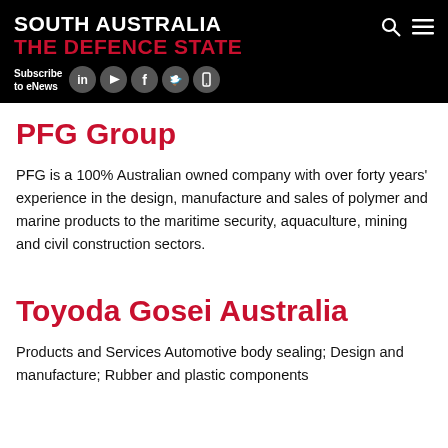SOUTH AUSTRALIA THE DEFENCE STATE
PFG Group
PFG is a 100% Australian owned company with over forty years’ experience in the design, manufacture and sales of polymer and marine products to the maritime security, aquaculture, mining and civil construction sectors.
Toyoda Gosei Australia
Products and Services Automotive body sealing; Design and manufacture; Rubber and plastic components